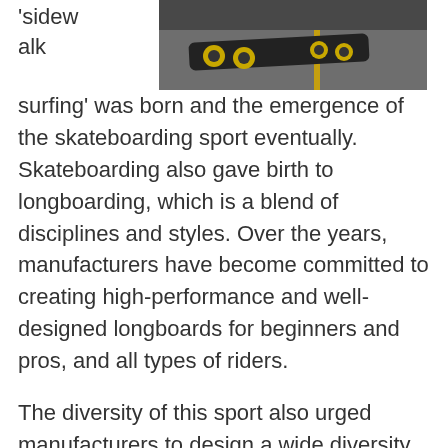[Figure (photo): Longboard skateboard viewed from above on asphalt road with yellow line marking]
'sidewalk surfing' was born and the emergence of the skateboarding sport eventually. Skateboarding also gave birth to longboarding, which is a blend of disciplines and styles. Over the years, manufacturers have become committed to creating high-performance and well-designed longboards for beginners and pros, and all types of riders.
The diversity of this sport also urged manufacturers to design a wide diversity of products just to meet and define the riders' requirements. Hence, the emergence of the different, good longboard brands on the market today. Below are just some of the best longboard